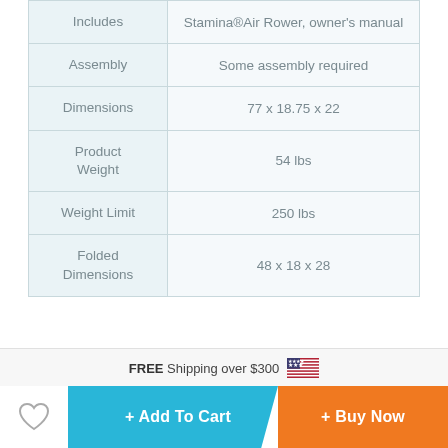|  |  |
| --- | --- |
| Includes | Stamina®Air Rower, owner's manual |
| Assembly | Some assembly required |
| Dimensions | 77 x 18.75 x 22 |
| Product Weight | 54 lbs |
| Weight Limit | 250 lbs |
| Folded Dimensions | 48 x 18 x 28 |
FREE Shipping over $300
+ Add To Cart
+ Buy Now